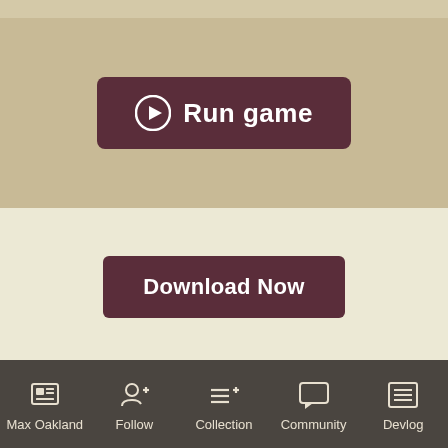[Figure (screenshot): Run game button with play icon on dark maroon background in beige header area]
[Figure (screenshot): Download Now button on beige background]
Max Oakland  Follow  Collection  Community  Devlog